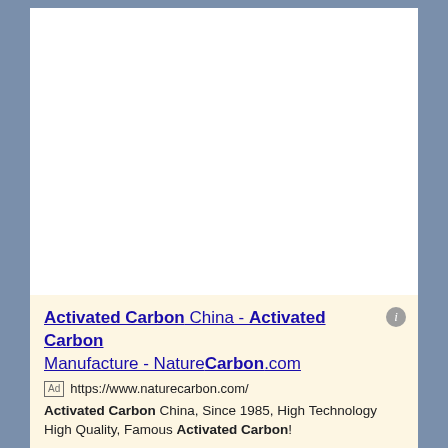[Figure (screenshot): A web browser advertisement for NatureCarbon.com showing a sponsored Google search ad result with the title 'Activated Carbon China - Activated Carbon Manufacture - NatureCarbon.com', an Ad badge, URL https://www.naturecarbon.com/, and description text about Activated Carbon products.]
Activated Carbon China - Activated Carbon Manufacture - NatureCarbon.com
Ad https://www.naturecarbon.com/
Activated Carbon China, Since 1985, High Technology High Quality, Famous Activated Carbon!
Activated Carbon Powder
Activated Carbon Fiber